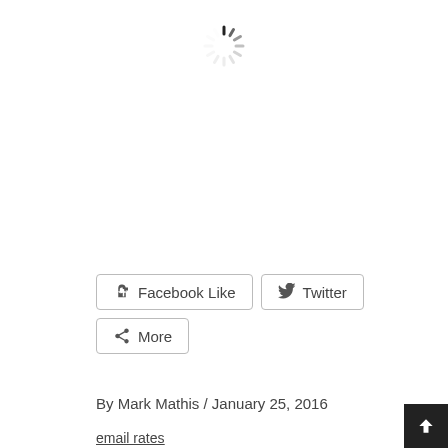[Figure (other): Spinning loading indicator (circular spinner) centered near the top of the page]
[Figure (other): Social sharing buttons: Facebook Like, Twitter, and More]
By Mark Mathis / January 25, 2016
email rates